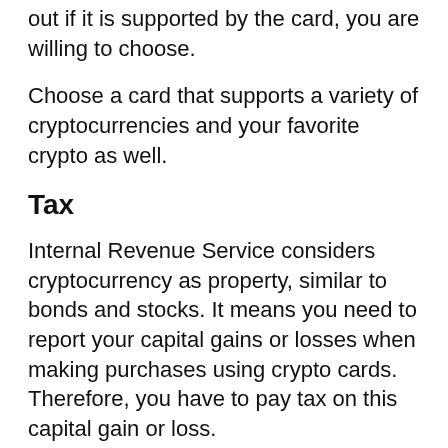out if it is supported by the card, you are willing to choose.
Choose a card that supports a variety of cryptocurrencies and your favorite crypto as well.
Tax
Internal Revenue Service considers cryptocurrency as property, similar to bonds and stocks. It means you need to report your capital gains or losses when making purchases using crypto cards. Therefore, you have to pay tax on this capital gain or loss.
Check out cryptocurrency tax details to know how much tax you will have to pay on purchases through crypto cards.